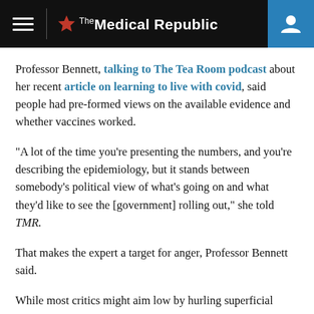The Medical Republic
Professor Bennett, talking to The Tea Room podcast about her recent article on learning to live with covid, said people had pre-formed views on the available evidence and whether vaccines worked.
“A lot of the time you’re presenting the numbers, and you’re describing the epidemiology, but it stands between somebody’s political view of what’s going on and what they’d like to see the [government] rolling out,” she told TMR.
That makes the expert a target for anger, Professor Bennett said.
While most critics might aim low by hurling superficial